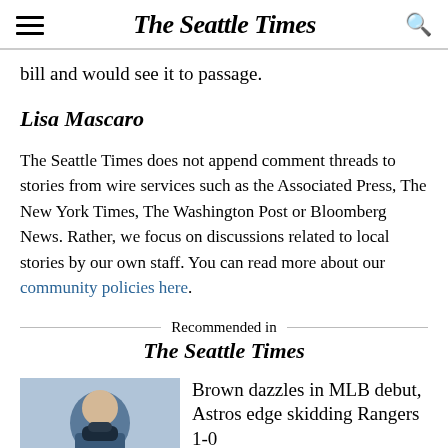The Seattle Times
bill and would see it to passage.
Lisa Mascaro
The Seattle Times does not append comment threads to stories from wire services such as the Associated Press, The New York Times, The Washington Post or Bloomberg News. Rather, we focus on discussions related to local stories by our own staff. You can read more about our community policies here.
Recommended in The Seattle Times
Brown dazzles in MLB debut, Astros edge skidding Rangers 1-0